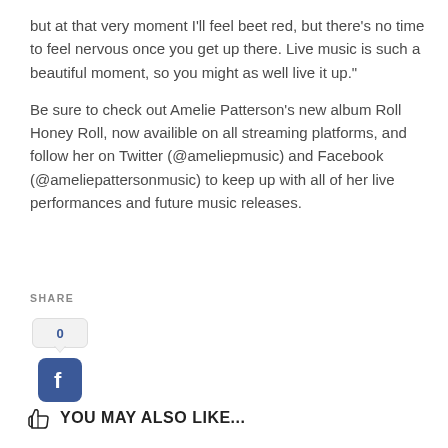but at that very moment I'll feel beet red, but there's no time to feel nervous once you get up there. Live music is such a beautiful moment, so you might as well live it up."
Be sure to check out Amelie Patterson's new album Roll Honey Roll, now availible on all streaming platforms, and follow her on Twitter (@ameliepmusic) and Facebook (@ameliepattersonmusic) to keep up with all of her live performances and future music releases.
SHARE
[Figure (other): Facebook share button widget showing count of 0 and Facebook logo icon]
YOU MAY ALSO LIKE...